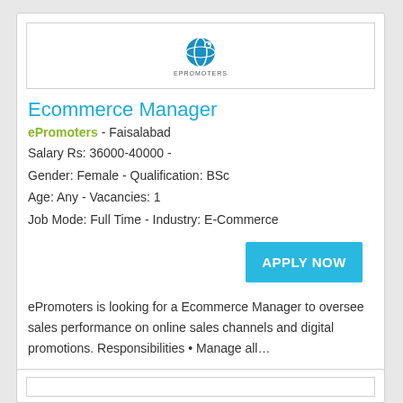[Figure (logo): ePromoters company logo — blue globe icon with 'EPROMOTERS' text below]
Ecommerce Manager
ePromoters  -  Faisalabad
Salary Rs: 36000-40000 -
Gender: Female - Qualification: BSc
Age: Any - Vacancies: 1
Job Mode: Full Time - Industry: E-Commerce
APPLY NOW
ePromoters is looking for a Ecommerce Manager to oversee sales performance on online sales channels and digital promotions. Responsibilities • Manage all…
Job Date: Dec 31, 2021